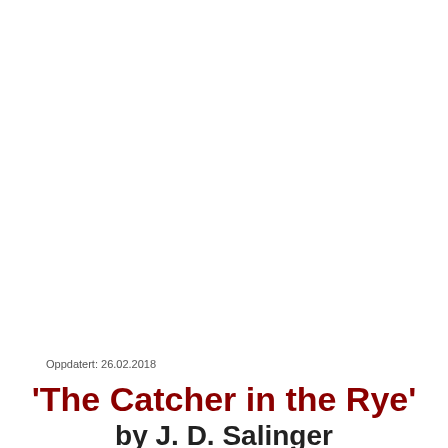Oppdatert: 26.02.2018
'The Catcher in the Rye' by J. D. Salinger